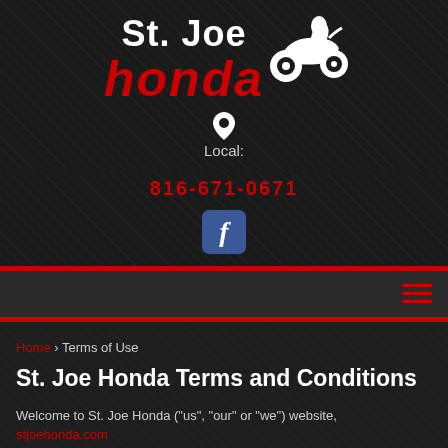[Figure (logo): St. Joe Honda logo with ATV silhouette — white text 'St. Joe' above red bold italic 'honda', with white ATV/dirt bike graphic to the right]
Local:
816-671-0671
[Figure (logo): Facebook 'f' icon in blue rounded-square button]
Home › Terms of Use
St. Joe Honda Terms and Conditions
Welcome to St. Joe Honda ("us", "our" or "we") website, stjoehonda.com